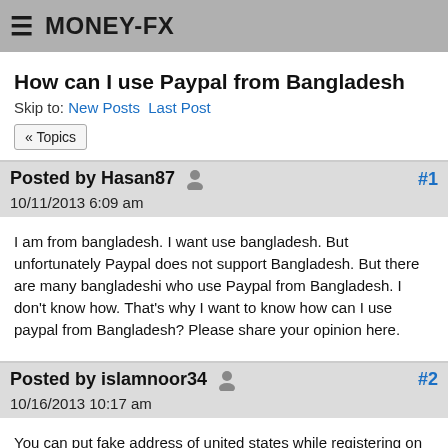MONEY-FX
How can I use Paypal from Bangladesh
Skip to: New Posts  Last Post
« Topics
Posted by Hasan87  #1
10/11/2013 6:09 am
I am from bangladesh. I want use bangladesh. But unfortunately Paypal does not support Bangladesh. But there are many bangladeshi who use Paypal from Bangladesh. I don't know how. That's why I want to know how can I use paypal from Bangladesh? Please share your opinion here.
Posted by islamnoor34  #2
10/16/2013 10:17 am
You can put fake address of united states while registering on paypal. But i do not recommend it because it is violation of terms of paypal.